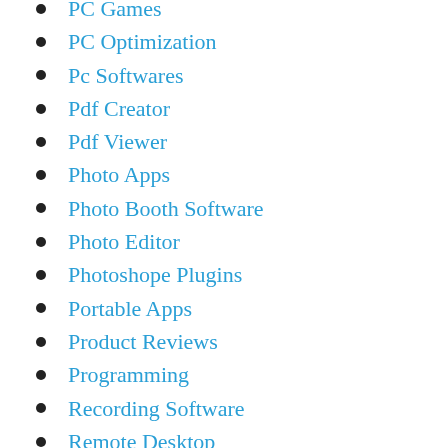PC Games
PC Optimization
Pc Softwares
Pdf Creator
Pdf Viewer
Photo Apps
Photo Booth Software
Photo Editor
Photoshope Plugins
Portable Apps
Product Reviews
Programming
Recording Software
Remote Desktop
Screen capture
Screen capture and Recording software
Screen Recorder